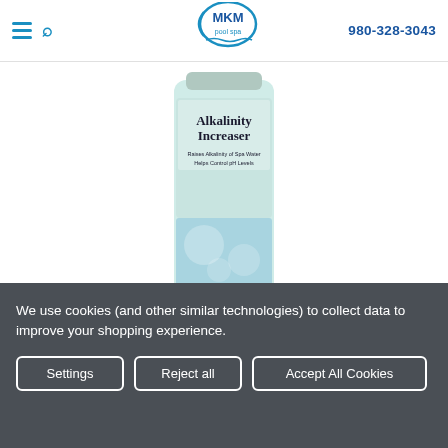MKM pool spa | 980-328-3043
[Figure (photo): Alkalinity Increaser product bottle - a cylindrical container with teal/mint colored label showing 'Alkalinity Increaser, Raises Alkalinity of Spa Water, Helps Control pH Levels, KEEP OUT OF REACH OF CHILDREN, CAUTION, NET WEIGHT 1 LBS (0.45 KG)']
We use cookies (and other similar technologies) to collect data to improve your shopping experience.
Settings
Reject all
Accept All Cookies